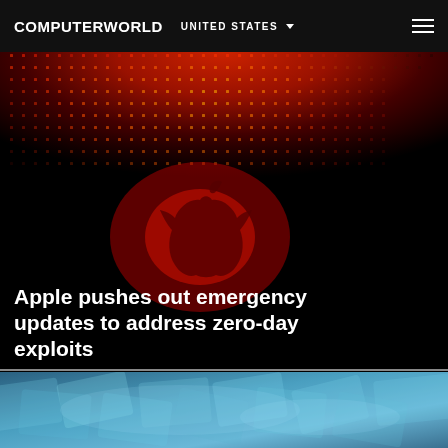COMPUTERWORLD  UNITED STATES
[Figure (photo): Dark hero image featuring a glowing red Apple logo against a black background with a red LED grid pattern in the upper portion. The Apple logo appears illuminated in red in the center.]
Apple pushes out emergency updates to address zero-day exploits
[Figure (photo): Partial teaser image at bottom showing blurred blue-toned scattered paper bills/currency, partially cropped.]